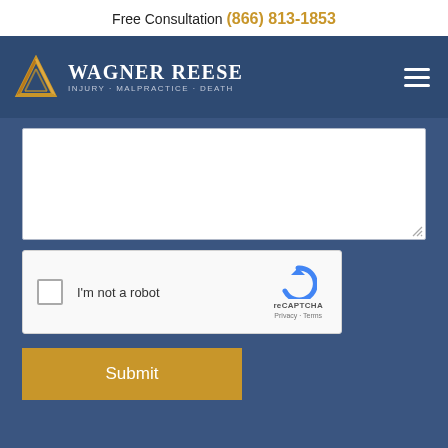Free Consultation (866) 813-1853
[Figure (logo): Wagner Reese law firm logo with gold triangle and white text reading WAGNER REESE INJURY - MALPRACTICE - DEATH on dark blue background]
[Figure (screenshot): Web form textarea input field (empty), reCAPTCHA widget with checkbox 'I'm not a robot', and a Submit button]
I'm not a robot
reCAPTCHA Privacy - Terms
Submit
LIVE CHAT   TEXT US